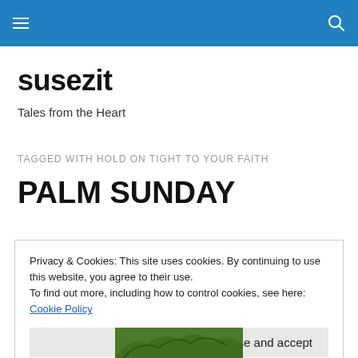susezit [hamburger menu] [search icon]
susezit
Tales from the Heart
TAGGED WITH HOLD ON TIGHT TO YOUR FAITH
PALM SUNDAY
Privacy & Cookies: This site uses cookies. By continuing to use this website, you agree to their use.
To find out more, including how to control cookies, see here: Cookie Policy
Close and accept
[Figure (photo): Palm fronds / leaves visible at bottom of page]